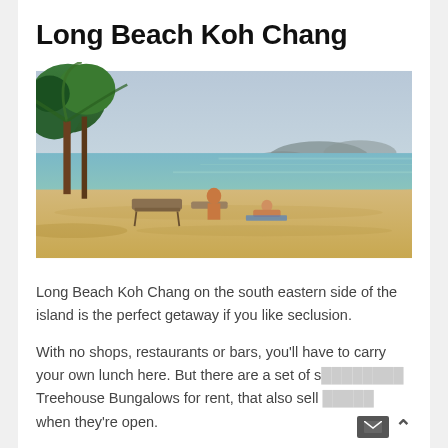Long Beach Koh Chang
[Figure (photo): Beach photo showing Long Beach Koh Chang with sandy shore, clear turquoise water, mountains in background, trees on left, and people relaxing on sun loungers]
Long Beach Koh Chang on the south eastern side of the island is the perfect getaway if you like seclusion.
With no shops, restaurants or bars, you'll have to carry your own lunch here. But there are a set of s… Treehouse Bungalows for rent, that also sell… when they're open.